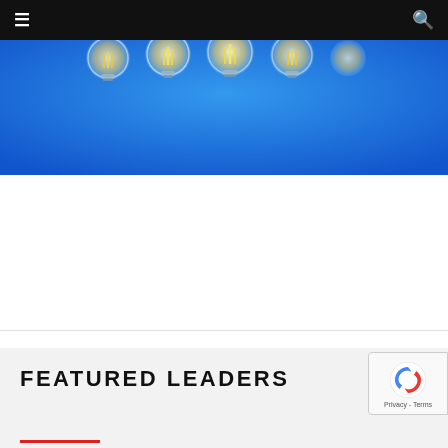≡  [navigation bar]  🔍
[Figure (photo): Blue background hero image with multiple glass light bulb icons arranged in a row, partially visible, on a bright blue gradient background.]
SMEs And Digitalisation
There is a belief that digitalisation is not for SMEs. However, by the nature of what SMEs are - small to medium size enterprises - digitalisation can be lever…
FEATURED LEADERS